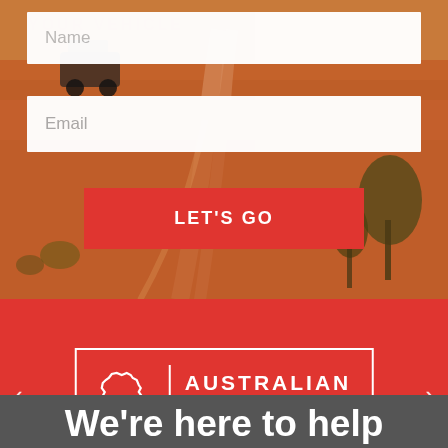[Figure (photo): Australian outback desert landscape with red dirt road and sparse trees, used as hero background image]
Name
Email
LET'S GO
[Figure (logo): Australian Designed, Made & Owned badge with outline map of Australia icon on red background with white border]
We're here to help